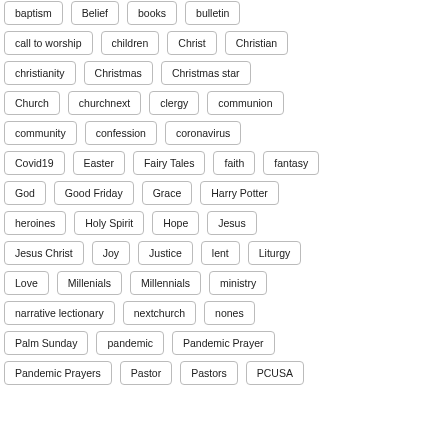baptism
Belief
books
bulletin
call to worship
children
Christ
Christian
christianity
Christmas
Christmas star
Church
churchnext
clergy
communion
community
confession
coronavirus
Covid19
Easter
Fairy Tales
faith
fantasy
God
Good Friday
Grace
Harry Potter
heroines
Holy Spirit
Hope
Jesus
Jesus Christ
Joy
Justice
lent
Liturgy
Love
Millenials
Millennials
ministry
narrative lectionary
nextchurch
nones
Palm Sunday
pandemic
Pandemic Prayer
Pandemic Prayers
Pastor
Pastors
PCUSA